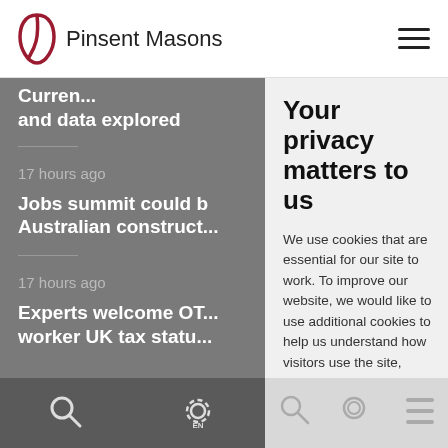Pinsent Masons
and data explored
17 hours ago
Jobs summit could h... Australian construc...
17 hours ago
Experts welcome OT... worker UK tax statu...
Your privacy matters to us
We use cookies that are essential for our site to work. To improve our website, we would like to use additional cookies to help us understand how visitors use the site, measure traffic to our site from social media platforms and to personalise your experience. Some of the cookies that we use are
Accept all
Cookie settings